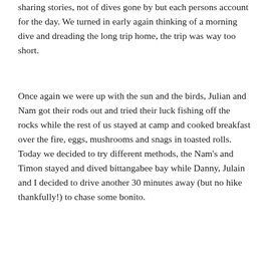sharing stories, not of dives gone by but each persons account for the day. We turned in early again thinking of a morning dive and dreading the long trip home, the trip was way too short.
Once again we were up with the sun and the birds, Julian and Nam got their rods out and tried their luck fishing off the rocks while the rest of us stayed at camp and cooked breakfast over the fire, eggs, mushrooms and snags in toasted rolls. Today we decided to try different methods, the Nam's and Timon stayed and dived bittangabee bay while Danny, Julain and I decided to drive another 30 minutes away (but no hike thankfully!) to chase some bonito.